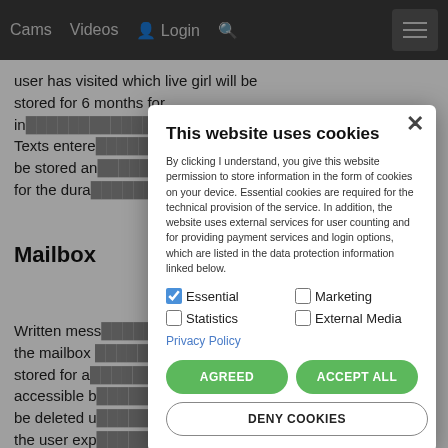Cams  Videos  Login  [search icon]  [menu]
user has visited which live girl will be stored for 6 months for in[…] Texts entere[…] be stored an[…] for the durat[…]
Mailbox
Written mess[…] the mailbox […] stored for a […] accessible b[…] be deleted u[…] the user exp[…] outgoing mailbox. Messages may be examined if the [...]
This website uses cookies
By clicking I understand, you give this website permission to store information in the form of cookies on your device. Essential cookies are required for the technical provision of the service. In addition, the website uses external services for user counting and for providing payment services and login options, which are listed in the data protection information linked below.
Essential  Marketing  Statistics  External Media
Privacy Policy
AGREED  ACCEPT ALL  DENY COOKIES